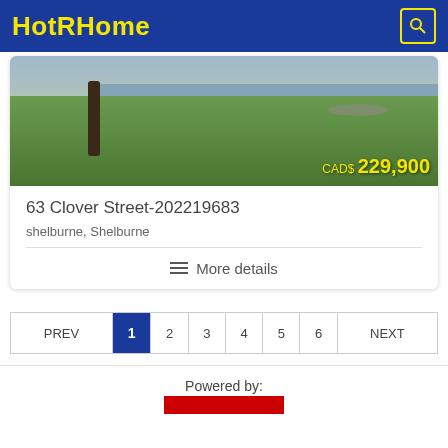HotRHome
[Figure (photo): Outdoor property photo showing grass, a tree trunk, and water/sky in background with price overlay CAD$ 229,900]
63 Clover Street-202219683
shelburne, Shelburne
More details
| PREV | 1 | 2 | 3 | 4 | 5 | 6 | NEXT |
| --- | --- | --- | --- | --- | --- | --- | --- |
Powered by: